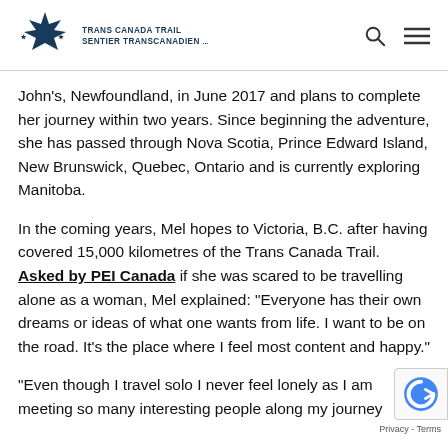TRANS CANADA TRAIL SENTIER TRANSCANADIEN
John’s, Newfoundland, in June 2017 and plans to complete her journey within two years. Since beginning the adventure, she has passed through Nova Scotia, Prince Edward Island, New Brunswick, Quebec, Ontario and is currently exploring Manitoba.
In the coming years, Mel hopes to Victoria, B.C. after having covered 15,000 kilometres of the Trans Canada Trail. Asked by PEI Canada if she was scared to be travelling alone as a woman, Mel explained: “Everyone has their own dreams or ideas of what one wants from life. I want to be on the road. It’s the place where I feel most content and happy.”
“Even though I travel solo I never feel lonely as I am meeting so many interesting people along my journey